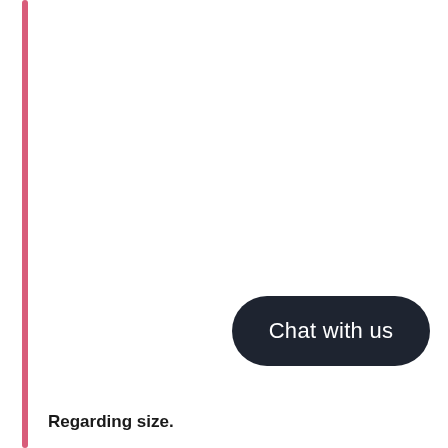[Figure (other): Vertical pink/rose colored bar on the left side of the page]
[Figure (other): Dark rounded rectangle button with white text reading 'Chat with us']
Regarding size.